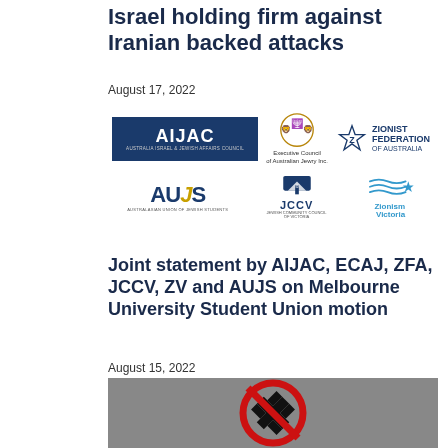Israel holding firm against Iranian backed attacks
August 17, 2022
[Figure (logo): Six organizational logos: AIJAC (Australia Israel & Jewish Affairs Council), Executive Council of Australian Jewry Inc., Zionist Federation of Australia, AUJS (Australasian Union of Jewish Students), JCCV (Jewish Community Council of Victoria), Zionism Victoria]
Joint statement by AIJAC, ECAJ, ZFA, JCCV, ZV and AUJS on Melbourne University Student Union motion
August 15, 2022
[Figure (photo): A red prohibition circle-and-slash sign over a black swastika symbol, on a grey background]